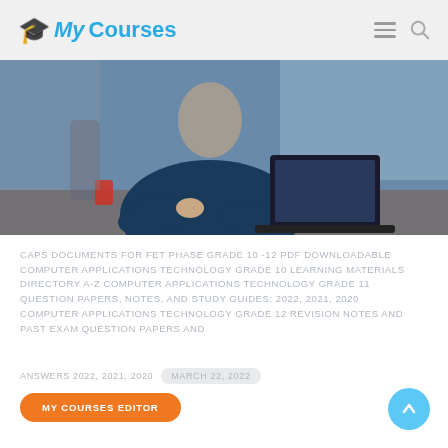My Courses
[Figure (photo): Person in dark blue shirt working on a laptop at a desk, office background.]
CAPS DOCUMENTS FOR FET PHASE GRADE 10 -12 PDF DOWNLOADABLE COMPUTER APPLICATIONS TECHNOLOGY GRADE 10 LEARNING MATERIALS DIRECTORY A-Z COMPUTER APPLICATIONS TECHNOLOGY GRADE 11 QUESTION PAPERS, NOTES, AND STUDY GUIDES: 2022, 2021, 2020 COMPUTER APPLICATIONS TECHNOLOGY GRADE 12 REVISION NOTES AND PAST EXAM QUESTION PAPERS AND
ANSWERS 2022, 2021, 2020
MARCH 22, 2022
MY COURSES EDITOR